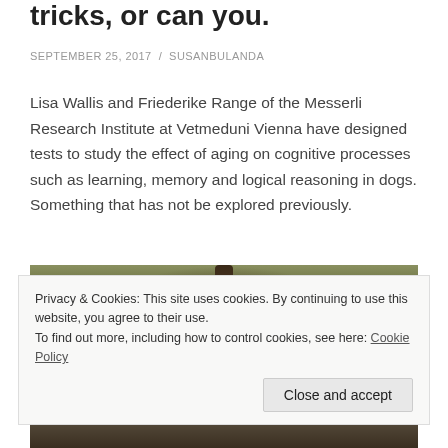tricks, or can you.
SEPTEMBER 25, 2017 / SUSANBULANDA
Lisa Wallis and Friederike Range of the Messerli Research Institute at Vetmeduni Vienna have designed tests to study the effect of aging on cognitive processes such as learning, memory and logical reasoning in dogs. Something that has not be explored previously.
[Figure (photo): Outdoor ground-level photo showing tree trunk base surrounded by fallen leaves and small white flowers, taken in a woodland or garden setting]
Privacy & Cookies: This site uses cookies. By continuing to use this website, you agree to their use.
To find out more, including how to control cookies, see here: Cookie Policy
Close and accept